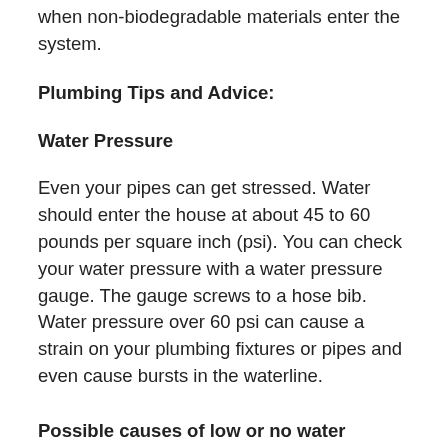when non-biodegradable materials enter the system.
Plumbing Tips and Advice:
Water Pressure
Even your pipes can get stressed. Water should enter the house at about 45 to 60 pounds per square inch (psi). You can check your water pressure with a water pressure gauge. The gauge screws to a hose bib. Water pressure over 60 psi can cause a strain on your plumbing fixtures or pipes and even cause bursts in the waterline.
Possible causes of low or no water pressure:
Reddish to